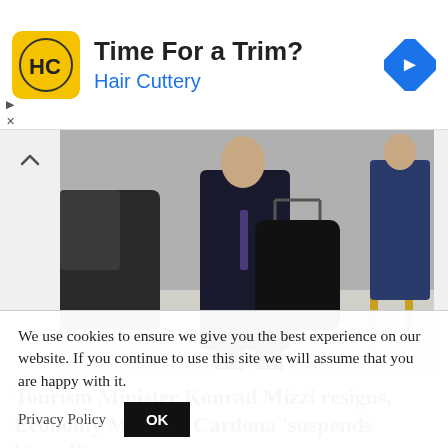[Figure (infographic): Hair Cuttery advertisement banner with yellow square logo showing 'HC', text 'Time For a Trim?' and 'Hair Cuttery', and a blue diamond direction sign icon on the right. Play and close icons on the left.]
[Figure (photo): A man in a dark suit carrying a large black leather bag, walking near a velvet rope barrier with gold stanchions. A car is partially visible on the left.]
Tourism Minister Konrad Mizzi resigns, Economy Minister Cardona ‘suspends himself’
We use cookies to ensure we give you the best experience on our website. If you continue to use this site we will assume that you are happy with it.
Privacy Policy    OK